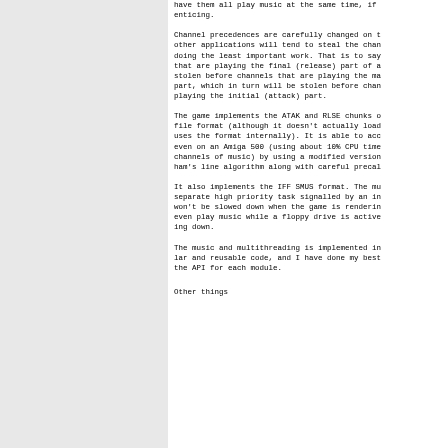have them all play music at the same time, if enticing.
Channel precedences are carefully changed on t other applications will tend to steal the chan doing the least important work. That is to say that are playing the final (release) part of a stolen before channels that are playing the ma part, which in turn will be stolen before chan playing the initial (attack) part.
The game implements the ATAK and RLSE chunks o file format (although it doesn't actually load uses the format internally). It is able to acc even on an Amiga 500 (using about 10% CPU time channels of music) by using a modified version ham's line algorithm along with careful precal
It also implements the IFF SMUS format. The mu separate high priority task signalled by an in won't be slowed down when the game is renderin even play music while a floppy drive is active ing down.
The music and multithreading is implemented in lar and reusable code, and I have done my best the API for each module.
Other things